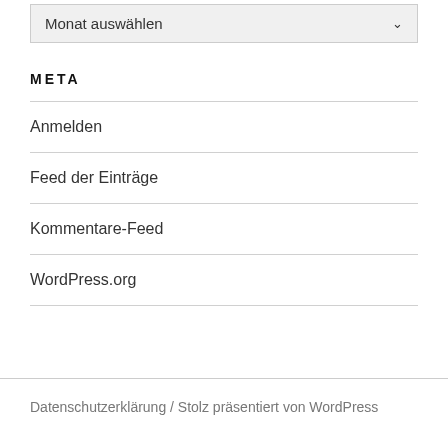Monat auswählen
META
Anmelden
Feed der Einträge
Kommentare-Feed
WordPress.org
Datenschutzerklärung / Stolz präsentiert von WordPress